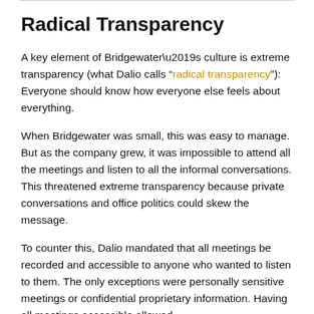Radical Transparency
A key element of Bridgewater’s culture is extreme transparency (what Dalio calls “radical transparency”): Everyone should know how everyone else feels about everything.
When Bridgewater was small, this was easy to manage. But as the company grew, it was impossible to attend all the meetings and listen to all the informal conversations. This threatened extreme transparency because private conversations and office politics could skew the message.
To counter this, Dalio mandated that all meetings be recorded and accessible to anyone who wanted to listen to them. The only exceptions were personally sensitive meetings or confidential proprietary information. Having all meetings accessible allowed